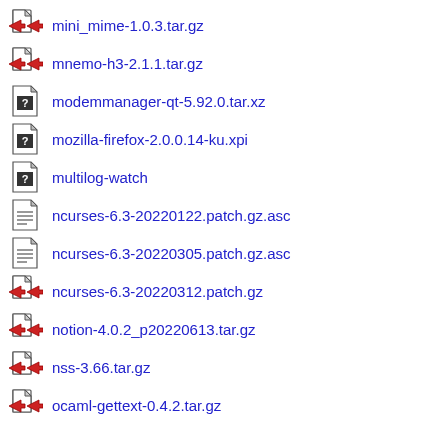mini_mime-1.0.3.tar.gz
mnemo-h3-2.1.1.tar.gz
modemmanager-qt-5.92.0.tar.xz
mozilla-firefox-2.0.0.14-ku.xpi
multilog-watch
ncurses-6.3-20220122.patch.gz.asc
ncurses-6.3-20220305.patch.gz.asc
ncurses-6.3-20220312.patch.gz
notion-4.0.2_p20220613.tar.gz
nss-3.66.tar.gz
ocaml-gettext-0.4.2.tar.gz